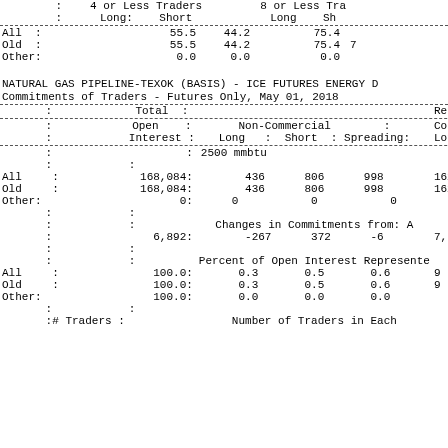|  |  | 4 or Less Traders Long: | Short | 8 or Less Tra Long | Sh |
| --- | --- | --- | --- | --- | --- |
| All | : | 55.5 | 44.2 | 75.4 |  |
| Old | : | 55.5 | 44.2 | 75.4 | 7 |
| Other: |  | 0.0 | 0.0 | 0.0 |  |
NATURAL GAS PIPELINE-TEXOK (BASIS) - ICE FUTURES ENERGY D
Commitments of Traders - Futures Only, May 01, 2018
| : Total : |  | Reportable Posit |
| --- | --- | --- |
| : Open : | Non-Commercial : | Co |
| : Interest : | Long : Short : Spreading: | Long |
| : 2500 mmbtu |  |  |
| All : 168,084: | 436 | 806 | 998 | 162, |
| Old : 168,084: | 436 | 806 | 998 | 162, |
| Other: 0: | 0 | 0 | 0 |  |
|  | Changes in Commitments from: A |  |
| : 6,892: | -267 | 372 | -6 | 7, |
|  | Percent of Open Interest Represente |  |
| All : 100.0: | 0.3 | 0.5 | 0.6 | 9 |
| Old : 100.0: | 0.3 | 0.5 | 0.6 | 9 |
| Other: 100.0: | 0.0 | 0.0 | 0.0 |  |
| :# Traders : |  | Number of Traders in Each |  |